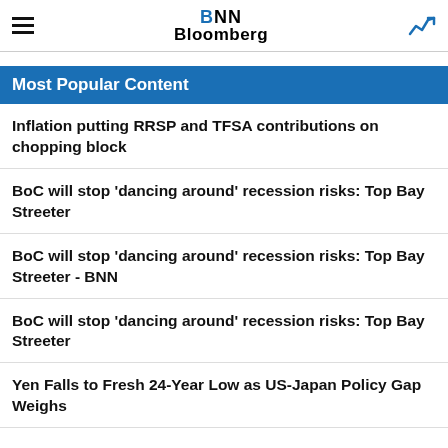BNN Bloomberg
Most Popular Content
Inflation putting RRSP and TFSA contributions on chopping block
BoC will stop 'dancing around' recession risks: Top Bay Streeter
BoC will stop 'dancing around' recession risks: Top Bay Streeter - BNN
BoC will stop 'dancing around' recession risks: Top Bay Streeter
Yen Falls to Fresh 24-Year Low as US-Japan Policy Gap Weighs